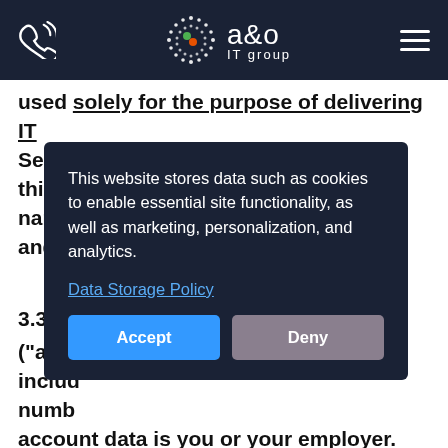[Figure (logo): a&o IT group logo with phone icon and hamburger menu in dark navy header]
used solely for the purpose of delivering IT Services for this p... name... site and s...
3.3
("acc
inclu
numb
account data is you or your employer. The account data may be processed for the purposes of operating our website, providing our services, ensuring the security of our website and services, maintaining back-ups of
This website stores data such as cookies to enable essential site functionality, as well as marketing, personalization, and analytics.
Data Storage Policy
Accept
Deny